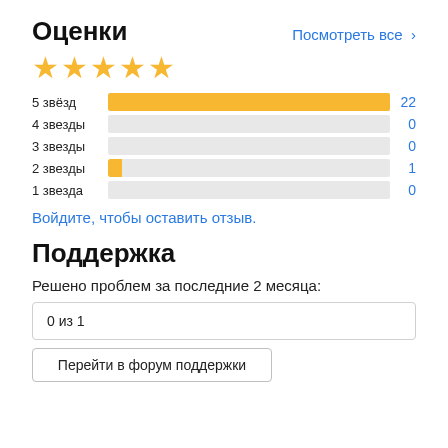Оценки
[Figure (other): Five yellow star icons indicating a 5-star rating]
[Figure (bar-chart): Rating distribution]
Войдите, чтобы оставить отзыв.
Поддержка
Решено проблем за последние 2 месяца:
0 из 1
Перейти в форум поддержки